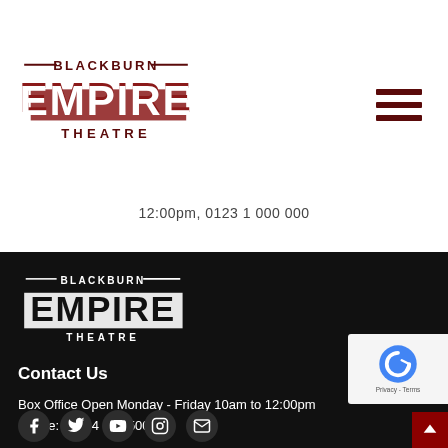Blackburn Empire Theatre – header logo and navigation
12:00pm, 0123 1 000 000
[Figure (logo): Blackburn Empire Theatre logo in footer, white text on dark background]
Contact Us
Box Office Open Monday - Friday 10am to 12:00pm
Phone: 01254 685 500
[Figure (other): reCAPTCHA badge with G logo and Privacy / Terms links]
Social media icons: Facebook, Twitter, YouTube, Instagram, Email